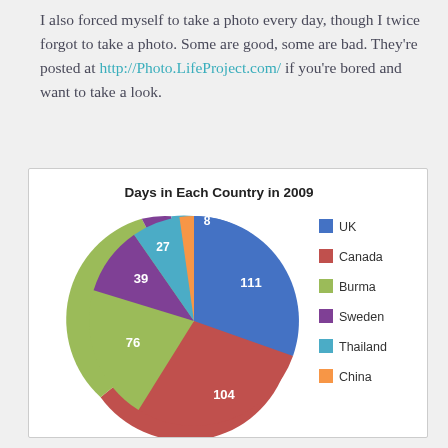I also forced myself to take a photo every day, though I twice forgot to take a photo. Some are good, some are bad. They're posted at http://Photo.LifeProject.com/ if you're bored and want to take a look.
[Figure (pie-chart): Days in Each Country in 2009]